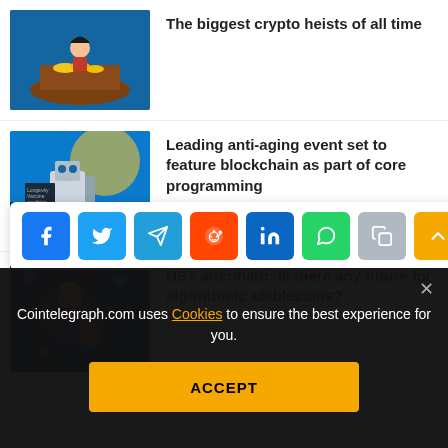[Figure (illustration): Pirate with treasure in boat illustration]
The biggest crypto heists of all time
[Figure (illustration): Robot with blockchain/crypto elements illustration]
Leading anti-aging event set to feature blockchain as part of core programming
[Figure (illustration): Character with crypto/usher theme illustration]
UST aftermath: Is there any future for algorithmic stablecoins?
[Figure (infographic): Social share buttons: Facebook, Twitter, Telegram, Reddit, LinkedIn, WhatsApp, Copy, Up arrow]
[Figure (photo): Dark partially visible article image]
Terra's meltdown highlights benefits of ESG management system
Cointelegraph.com uses Cookies to ensure the best experience for you.
ACCEPT